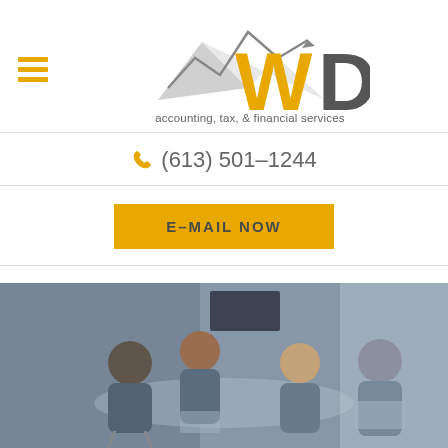[Figure (logo): WD accounting, tax, & financial services logo with mountain/arrow graphic and hamburger menu icon]
(613) 501-1244
E-MAIL NOW
BOOK NOW
[Figure (photo): Office meeting scene with four people sitting around a glass table with laptops in a modern office setting]